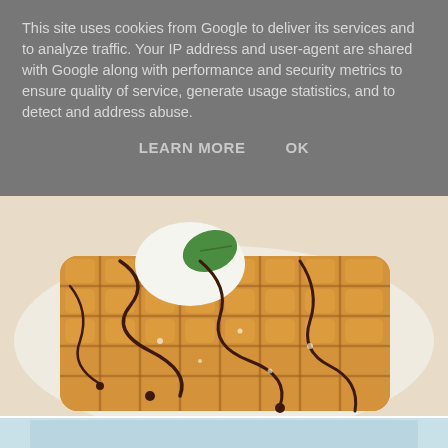This site uses cookies from Google to deliver its services and to analyze traffic. Your IP address and user-agent are shared with Google along with performance and security metrics to ensure quality of service, generate usage statistics, and to detect and address abuse.
LEARN MORE    OK
[Figure (photo): Close-up photo of a golden waffle on a white plate, drizzled with dark chocolate sauce and dusted with powdered sugar, with a mint leaf and what appears to be ice cream visible at the top.]
Chocolate fudge cake: Again, not home made but decent value for money at £3.85 with a choice of ice cream.
[Figure (photo): Partially visible photo at the bottom of the page, appears to be another food item.]